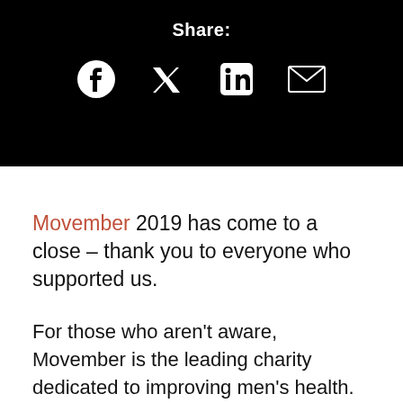[Figure (infographic): Black banner with Share: label and four social media icons: Facebook, Twitter, LinkedIn, and email (envelope)]
Movember 2019 has come to a close – thank you to everyone who supported us.
For those who aren't aware, Movember is the leading charity dedicated to improving men's health.